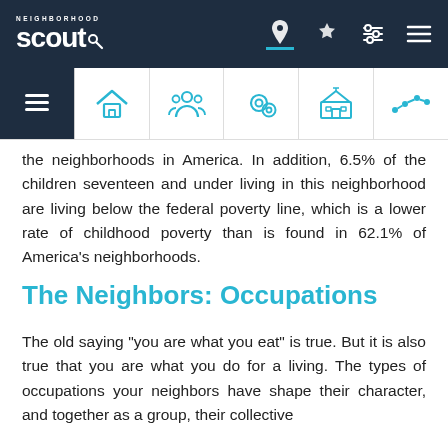Neighborhood Scout navigation header
the neighborhoods in America. In addition, 6.5% of the children seventeen and under living in this neighborhood are living below the federal poverty line, which is a lower rate of childhood poverty than is found in 62.1% of America's neighborhoods.
The Neighbors: Occupations
The old saying "you are what you eat" is true. But it is also true that you are what you do for a living. The types of occupations your neighbors have shape their character, and together as a group, their collective